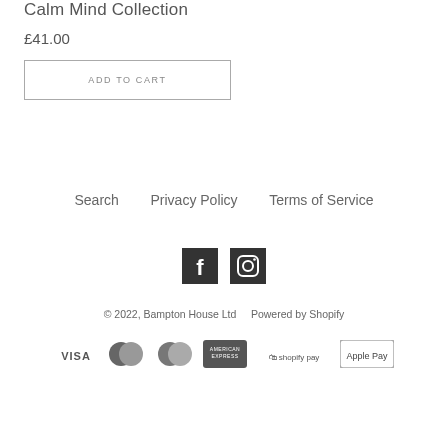Calm Mind Collection
£41.00
ADD TO CART
Search   Privacy Policy   Terms of Service
[Figure (illustration): Facebook and Instagram social media icons]
© 2022, Bampton House Ltd   Powered by Shopify
[Figure (illustration): Payment method icons: Visa, Maestro, Mastercard, American Express, Shopify Pay, Apple Pay]